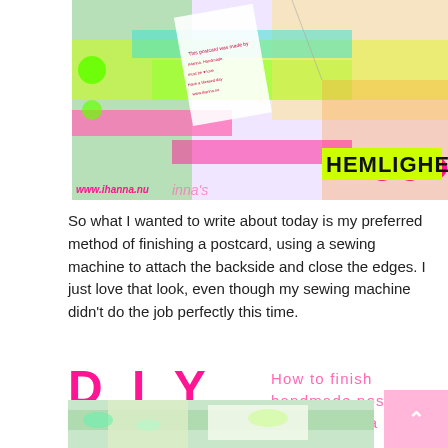[Figure (photo): Colorful handmade postcards spread out, featuring bright neon colors, patterned papers, and the text 'www.ihanna.nu' watermark and 'HEMLIGHET' visible]
So what I wanted to write about today is my preferred method of finishing a postcard, using a sewing machine to attach the backside and close the edges. I just love that look, even though my sewing machine didn't do the job perfectly this time.
DIY postcards How to finish handmade postcards backs using a sewing machine